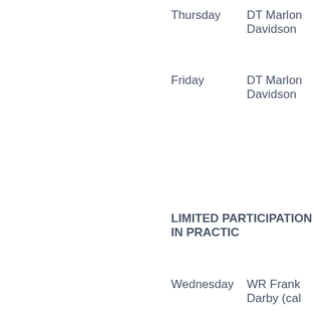Thursday    DT Marlon Davidson
Friday    DT Marlon Davidson
LIMITED PARTICIPATION IN PRACTICE
Wednesday    WR Frank Darby (cal
FULL PARTICIPATION IN PRACTICE
Wednesday    CB A.J. Terrell (concu
Thursday    WR Frank Darby (cal
Friday    WR Frank Darby (cal